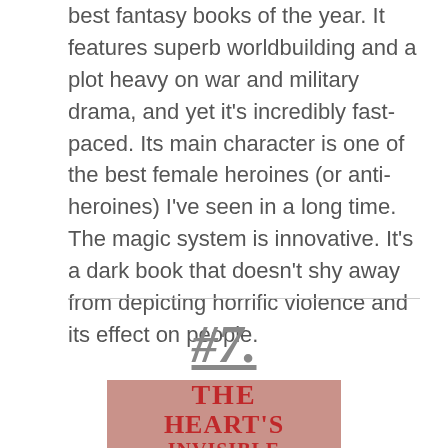best fantasy books of the year. It features superb worldbuilding and a plot heavy on war and military drama, and yet it's incredibly fast-paced. Its main character is one of the best female heroines (or anti-heroines) I've seen in a long time. The magic system is innovative. It's a dark book that doesn't shy away from depicting horrific violence and its effect on people.
#7.
[Figure (illustration): Book cover with pink/mauve background showing title text 'THE HEART'S INVISIBLE...' in large bold red serif font]